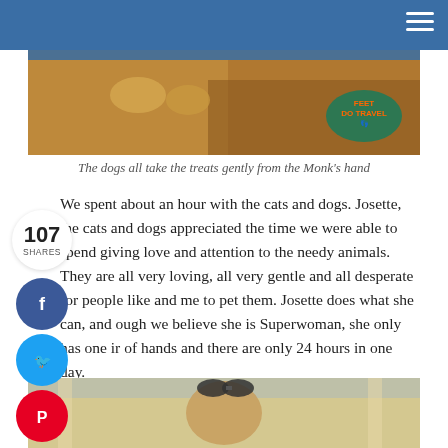[Figure (photo): Close-up photo of a dog's underbelly and paws resting on a wooden floor, with a 'Feet Do Travel' logo watermark in the bottom right corner]
The dogs all take the treats gently from the Monk's hand
We spent about an hour with the cats and dogs. Josette, the cats and dogs appreciated the time we were able to spend giving love and attention to the needy animals. They are all very loving, all very gentle and all desperate for people like and me to pet them. Josette does what she can, and ough we believe she is Superwoman, she only has one ir of hands and there are only 24 hours in one day.
[Figure (photo): Photo of a woman with sunglasses on her head, seen from behind/side, in what appears to be a building with columns]